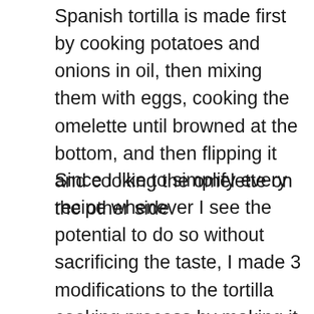Spanish tortilla is made first by cooking potatoes and onions in oil, then mixing them with eggs, cooking the omelette until browned at the bottom, and then flipping it and cooking the omelette on the other side.
Since I like to simplify every recipe whenever I see the potential to do so without sacrificing the taste, I made 3 modifications to the tortilla cooking process by making it (1) quicker (2) easier (3) healthier.  With the modern technology, there is no reason to cook the tortilla the same way as it was done in Spain 5 centuries ago). Don't be afraid in...